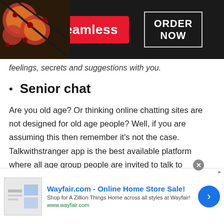[Figure (screenshot): Seamless food delivery advertisement banner with pizza image on left, red Seamless logo in center, and 'ORDER NOW' button on right, on dark background]
feelings, secrets and suggestions with you.
Senior chat
Are you old age? Or thinking online chatting sites are not designed for old age people? Well, if you are assuming this then remember it's not the case. Talkwithstranger app is the best available platform where all age group people are invited to talk to strangers online. Yes, TWS senior chat rooms help people of age around 50 or above 50. They can
[Figure (screenshot): Wayfair.com online home store sale advertisement banner at the bottom of the page]